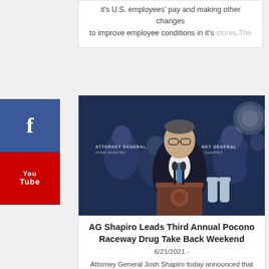it's U.S. employees' pay and making other changes to improve employee conditions in it's stores.The
[Figure (photo): Attorney General Josh Shapiro speaking at a podium with 'Attorney General Josh Shapiro' backdrop, flanked by several officials]
AG Shapiro Leads Third Annual Pocono Raceway Drug Take Back Weekend
6/21/2021 -
Attorney General Josh Shapiro today announced that the Office of Attorney General is again partnering with the Pocono Raceway for the annual Drug Tak